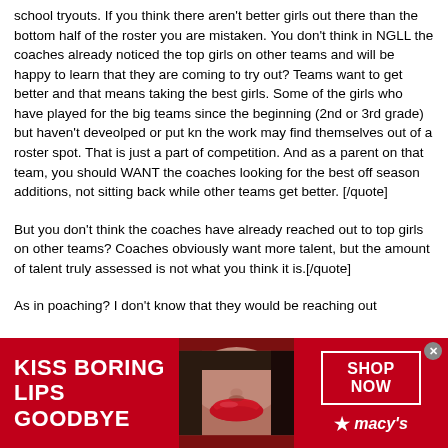school tryouts. If you think there aren't better girls out there than the bottom half of the roster you are mistaken. You don't think in NGLL the coaches already noticed the top girls on other teams and will be happy to learn that they are coming to try out? Teams want to get better and that means taking the best girls. Some of the girls who have played for the big teams since the beginning (2nd or 3rd grade) but haven't deveolped or put kn the work may find themselves out of a roster spot. That is just a part of competition. And as a parent on that team, you should WANT the coaches looking for the best off season additions, not sitting back while other teams get better. [/quote]
But you don't think the coaches have already reached out to top girls on other teams? Coaches obviously want more talent, but the amount of talent truly assessed is not what you think it is.[/quote]
As in poaching? I don't know that they would be reaching out
[Figure (other): Macy's advertisement banner with red background. Text on left reads 'KISS BORING LIPS GOODBYE' in white bold uppercase. Center shows a close-up photo of a woman's face focusing on red lips. Right side has a 'SHOP NOW' button in white border and the Macy's logo with red star.]